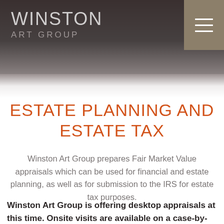WINSTON ART GROUP
ESTATE PLANNING AND ESTATE TAX
Winston Art Group prepares Fair Market Value appraisals which can be used for financial and estate planning, as well as for submission to the IRS for estate tax purposes.
Winston Art Group is offering desktop appraisals at this time. Onsite visits are available on a case-by-case basis. If you are interested, please contact